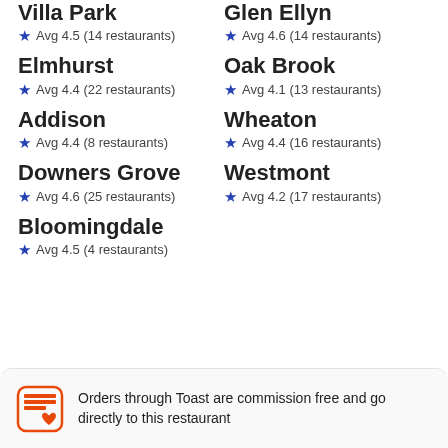Villa Park
★ Avg 4.5 (14 restaurants)
Glen Ellyn
★ Avg 4.6 (14 restaurants)
Elmhurst
★ Avg 4.4 (22 restaurants)
Oak Brook
★ Avg 4.1 (13 restaurants)
Addison
★ Avg 4.4 (8 restaurants)
Wheaton
★ Avg 4.4 (16 restaurants)
Downers Grove
★ Avg 4.6 (25 restaurants)
Westmont
★ Avg 4.2 (17 restaurants)
Bloomingdale
★ Avg 4.5 (4 restaurants)
Orders through Toast are commission free and go directly to this restaurant